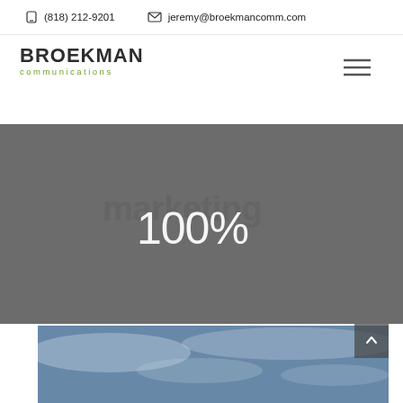(818) 212-9201   jeremy@broekmancomm.com
[Figure (logo): Broekman Communications logo — BROEKMAN in bold dark text with 'communications' in olive/green below]
[Figure (illustration): Hamburger menu icon (three horizontal lines)]
marketing 100%
[Figure (photo): Partial photo of blue sky with clouds at the bottom of the page]